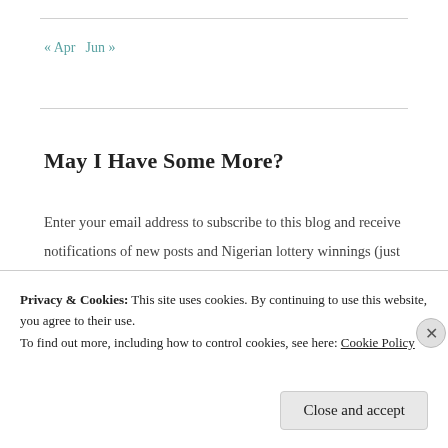« Apr   Jun »
May I Have Some More?
Enter your email address to subscribe to this blog and receive notifications of new posts and Nigerian lottery winnings (just kidding) by email.
Email Address
Privacy & Cookies: This site uses cookies. By continuing to use this website, you agree to their use.
To find out more, including how to control cookies, see here: Cookie Policy
Close and accept